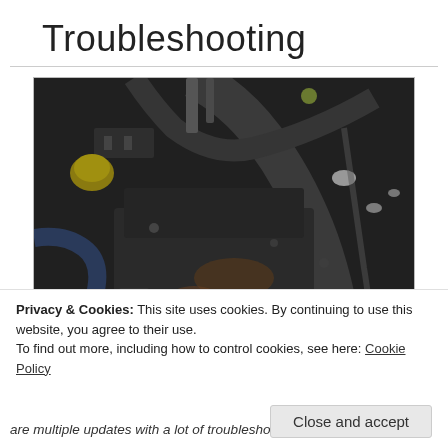Troubleshooting
[Figure (photo): Close-up photograph of a dirty car engine compartment showing engine components, hoses, brackets and metal parts with grease and rust deposits]
Privacy & Cookies: This site uses cookies. By continuing to use this website, you agree to their use.
To find out more, including how to control cookies, see here: Cookie Policy
Close and accept
are multiple updates with a lot of troubleshooting ideas